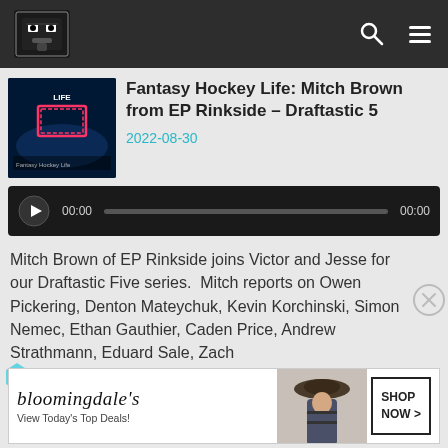Fantasy Hockey Life header navigation bar
Fantasy Hockey Life: Mitch Brown from EP Rinkside – Draftastic 5
2022-08-30
[Figure (screenshot): Audio player with play button, time 00:00, progress bar, and end time 00:00]
Mitch Brown of EP Rinkside joins Victor and Jesse for our Draftastic Five series.  Mitch reports on Owen Pickering, Denton Mateychuk, Kevin Korchinski, Simon Nemec, Ethan Gauthier, Caden Price, Andrew Strathmann, Eduard Sale, Zach...
[Figure (photo): Bloomingdale's advertisement - View Today's Top Deals! SHOP NOW >]